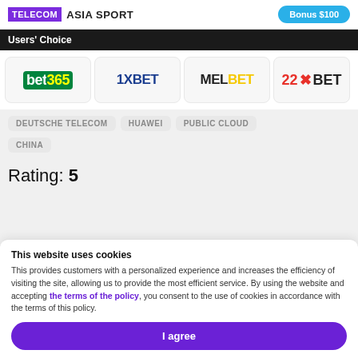TELECOM ASIA SPORT | Bonus $100
Users' Choice
[Figure (logo): Betting site logos row: bet365, 1XBET, MELBET, 22BET]
DEUTSCHE TELECOM
HUAWEI
PUBLIC CLOUD
CHINA
Rating: 5
This website uses cookies
This provides customers with a personalized experience and increases the efficiency of visiting the site, allowing us to provide the most efficient service. By using the website and accepting the terms of the policy, you consent to the use of cookies in accordance with the terms of this policy.
I agree